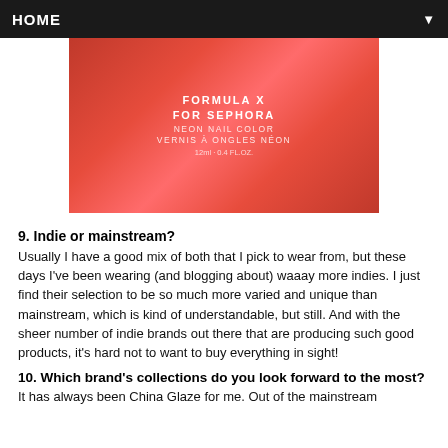HOME
[Figure (photo): Close-up photo of a red/coral neon nail polish bottle labeled 'Formula X for Sephora Neon Nail Color Vernis à Ongles Néon 12ml x 0.4 FL.OZ.' next to a hand with nails painted the same glittery neon red/coral color.]
9. Indie or mainstream?
Usually I have a good mix of both that I pick to wear from, but these days I've been wearing (and blogging about) waaay more indies. I just find their selection to be so much more varied and unique than mainstream, which is kind of understandable, but still. And with the sheer number of indie brands out there that are producing such good products, it's hard not to want to buy everything in sight!
10. Which brand's collections do you look forward to the most?
It has always been China Glaze for me. Out of the mainstream